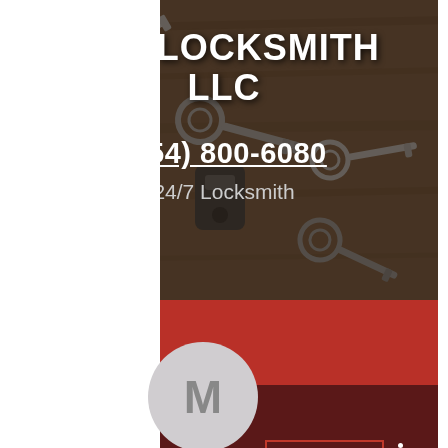[Figure (screenshot): Locksmith business listing screenshot showing USA Locksmith LLC with keys background image, phone number, follow button, avatar circle with M, and a green Call Now bar at the bottom]
USA LOCKSMITH LLC
(954) 800-6080
24/7 Locksmith
CALL NOW